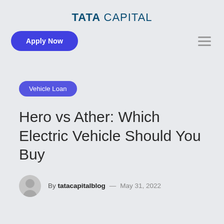TATA CAPITAL
Apply Now
Vehicle Loan
Hero vs Ather: Which Electric Vehicle Should You Buy
By tatacapitalblog — May 31, 2022